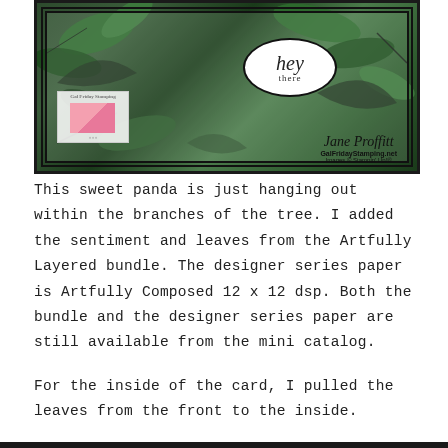[Figure (photo): Photo of a handmade greeting card featuring tropical green leaves and a black oval frame with 'hey there' sentiment in script. Card has dark frame border. A small watermark box with envelope logo appears bottom left. Signature 'Jane Proffitt', GalFridayStamping.net, Images © Stampin' Up! appear bottom right.]
This sweet panda is just hanging out within the branches of the tree. I added the sentiment and leaves from the Artfully Layered bundle. The designer series paper is Artfully Composed 12 x 12 dsp. Both the bundle and the designer series paper are still available from the mini catalog.
For the inside of the card, I pulled the leaves from the front to the inside.